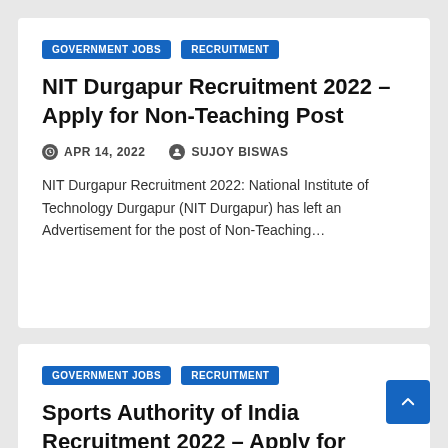GOVERNMENT JOBS
RECRUITMENT
NIT Durgapur Recruitment 2022 – Apply for Non-Teaching Post
APR 14, 2022   SUJOY BISWAS
NIT Durgapur Recruitment 2022: National Institute of Technology Durgapur (NIT Durgapur) has left an Advertisement for the post of Non-Teaching…
GOVERNMENT JOBS
RECRUITMENT
Sports Authority of India Recruitment 2022 – Apply for